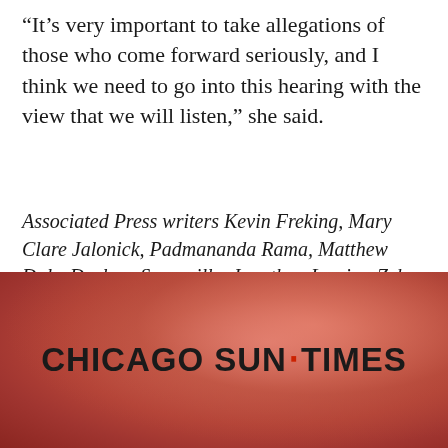“It’s very important to take allegations of those who come forward seriously, and I think we need to go into this hearing with the view that we will listen,” she said.
Associated Press writers Kevin Freking, Mary Clare Jalonick, Padmananda Rama, Matthew Daly, Darlene Superville, Jonathan Lemire, Zeke Miller and Deb Riechmann contributed to this report.
[Figure (logo): Chicago Sun-Times logo on a blurred reddish-brown background]